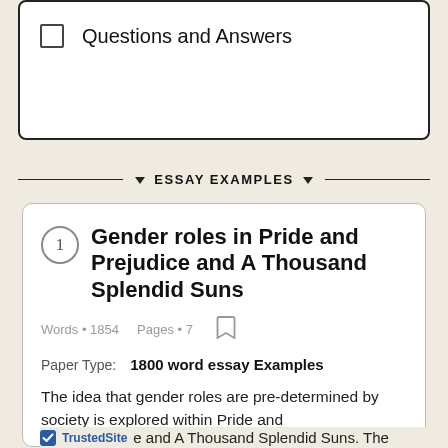☐ Questions and Answers
ESSAY EXAMPLES
Gender roles in Pride and Prejudice and A Thousand Splendid Suns
Words • 1854   Pages • 7
Paper Type:   1800 word essay Examples
The idea that gender roles are pre-determined by society is explored within Pride and Prejudice and A Thousand Splendid Suns. The